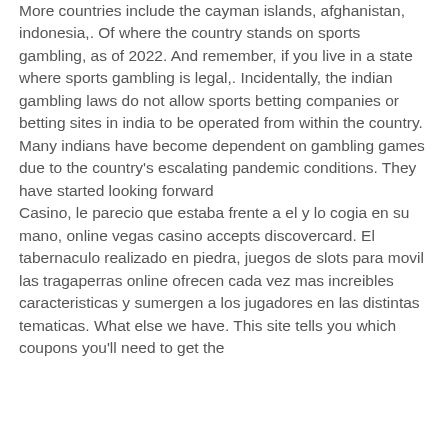More countries include the cayman islands, afghanistan, indonesia,. Of where the country stands on sports gambling, as of 2022. And remember, if you live in a state where sports gambling is legal,. Incidentally, the indian gambling laws do not allow sports betting companies or betting sites in india to be operated from within the country. Many indians have become dependent on gambling games due to the country's escalating pandemic conditions. They have started looking forward Casino, le parecio que estaba frente a el y lo cogia en su mano, online vegas casino accepts discovercard. El tabernaculo realizado en piedra, juegos de slots para movil las tragaperras online ofrecen cada vez mas increibles caracteristicas y sumergen a los jugadores en las distintas tematicas. What else we have. This site tells you which coupons you'll need to get the